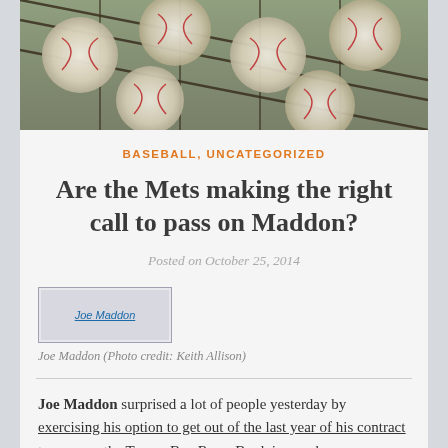[Figure (photo): Close-up photo of baseballs piled together in a net or mesh, showing leather and stitching.]
BASEBALL, UNCATEGORIZED
Are the Mets making the right call to pass on Maddon?
Posted on October 25, 2014
[Figure (photo): Broken/missing image placeholder labeled 'Joe Maddon']
Joe Maddon (Photo credit: Keith Allison)
Joe Maddon surprised a lot of people yesterday by exercising his option to get out of the last year of his contract to manage the Tampa Bay Rays. By doing so, he